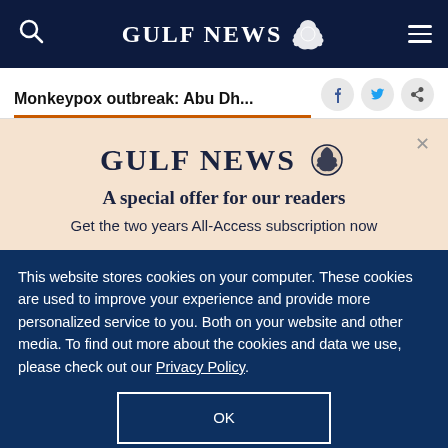GULF NEWS
Monkeypox outbreak: Abu Dh...
A special offer for our readers
Get the two years All-Access subscription now
This website stores cookies on your computer. These cookies are used to improve your experience and provide more personalized service to you. Both on your website and other media. To find out more about the cookies and data we use, please check out our Privacy Policy.
OK